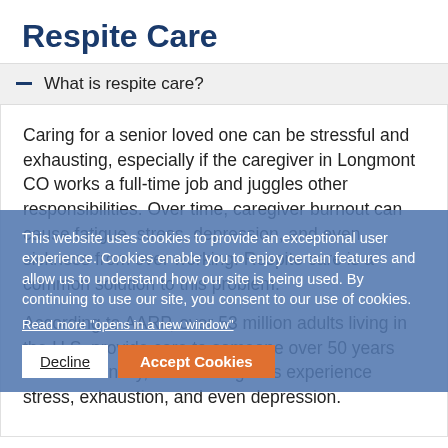Respite Care
What is respite care?
Caring for a senior loved one can be stressful and exhausting, especially if the caregiver in Longmont CO works a full-time job and juggles other responsibilities. Over time, caregiver burnout can cause fatigue, stress, depression, and even sickness from over working. Respite care is a common solution to this problem.
According to AARP, over 53 million adults living in the U.S. provide care to someone over 50 years old. Additionally, these caregivers experience stress, exhaustion, and even depression.
This website uses cookies to provide an exceptional user experience. Cookies enable you to enjoy certain features and allow us to understand how our site is being used. By continuing to use our site, you consent to our use of cookies.
Read more "opens in a new window"